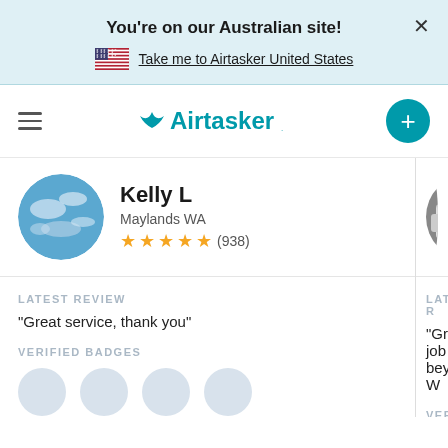You're on our Australian site!
Take me to Airtasker United States
[Figure (screenshot): Airtasker navigation bar with hamburger menu, Airtasker logo, and plus button]
[Figure (photo): Profile photo of Kelly L showing aerial earth/clouds view]
Kelly L
Maylands WA
★★★★★ (938)
LATEST REVIEW
"Great service, thank you"
VERIFIED BADGES
[Figure (photo): Partial profile photo of second user showing a white truck/van]
LATEST R
"Great job beyond. W
VERIFIED